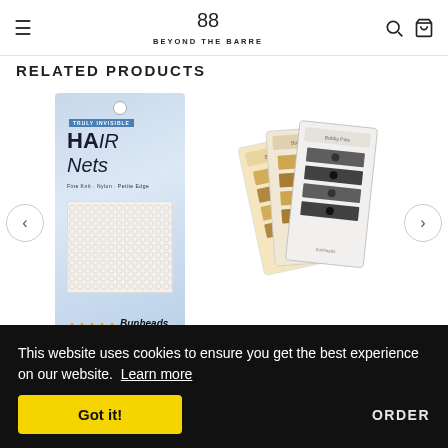Beyond The Barre — navigation header with hamburger menu, logo, search, and cart icons
RELATED PRODUCTS
[Figure (photo): Bunheads Hair Nets product card with blue packaging]
[Figure (photo): Bobby pins multi-pack product cards fanned out]
ns
This website uses cookies to ensure you get the best experience on our website. Learn more
Got it!
ORDER